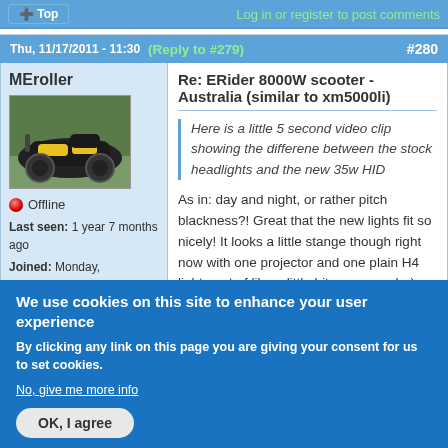Top | Log in or register to post comments
Thu, 11/17/2011 - 11:30 (Reply to #279) #280
MEroller
[Figure (photo): Yellow and black electric scooter/motorcycle parked outdoors]
Offline
Last seen: 1 year 7 months ago
Joined: Monday, September 26, 2011 - 09:24
Points: 847
Re: ERider 8000W scooter - Australia (similar to xm5000li)
Here is a little 5 second video clip showing the differene between the stock headlights and the new 35w HID
As in: day and night, or rather pitch blackness?! Great that the new lights fit so nicely! It looks a little stange though right now with one projector and one plain H4 light, sort of like a little bit cross-eyed :-)
We use cookies on this site to enhance your user experience
By clicking any link on this page you are giving your consent for us to set cookies.
No, give me more info
OK, I agree